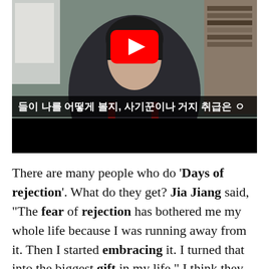[Figure (screenshot): YouTube video thumbnail/screenshot showing a person with Korean subtitle text: 들이 나를 어떻게 볼지, 사기꾼이나 거지 취급은 ㅇ and a YouTube play button overlay]
There are many people who do 'Days of rejection'. What do they get? Jia Jiang said, "The fear of rejection has bothered me my whole life because I was running away from it. Then I started embracing it. I turned that into the biggest gift in my life." I think they